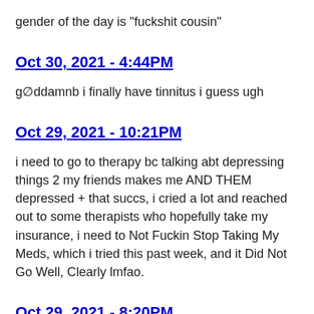gender of the day is "fuckshit cousin"
Oct 30, 2021 - 4:44PM
g∅ddamnb i finally have tinnitus i guess ugh
Oct 29, 2021 - 10:21PM
i need to go to therapy bc talking abt depressing things 2 my friends makes me AND THEM depressed + that succs, i cried a lot and reached out to some therapists who hopefully take my insurance, i need to Not Fuckin Stop Taking My Meds, which i tried this past week, and it Did Not Go Well, Clearly lmfao.
Oct 29, 2021 - 8:20PM
CRYING IN THE 7/11 PARKING LOT,,,, SHE SAID,